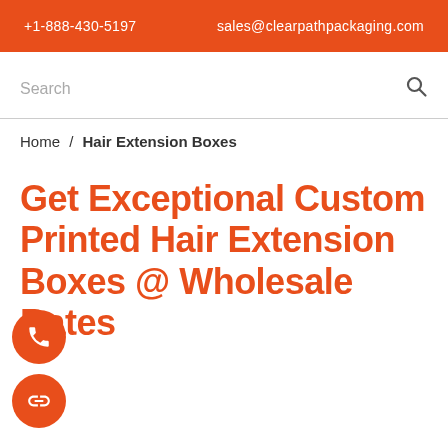+1-888-430-5197   sales@clearpathpackaging.com
Search
Home / Hair Extension Boxes
Get Exceptional Custom Printed Hair Extension Boxes @ Wholesale Rates